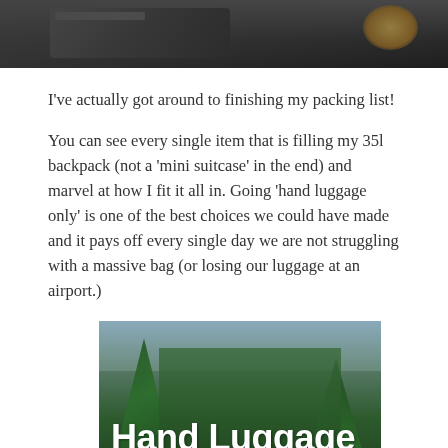[Figure (photo): Partial photo of a dark backpack or bag with travel gear, with a golden/yellow object visible at top right]
I've actually got around to finishing my packing list!
You can see every single item that is filling my 35l backpack (not a 'mini suitcase' in the end) and marvel at how I fit it all in. Going 'hand luggage only' is one of the best choices we could have made and it pays off every single day we are not struggling with a massive bag (or losing our luggage at an airport.)
[Figure (photo): Photo of tropical palm trees with overlaid bold white text reading 'Hand Luggage ONLY']